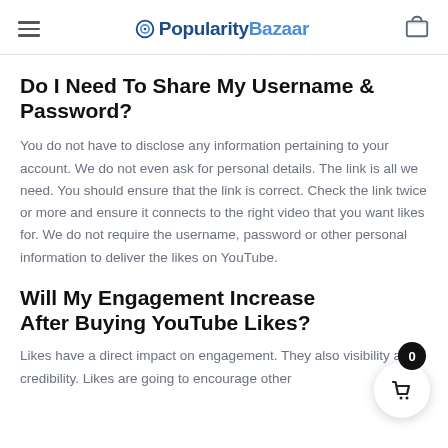PopularityBazaar
Do I Need To Share My Username & Password?
You do not have to disclose any information pertaining to your account. We do not even ask for personal details. The link is all we need. You should ensure that the link is correct. Check the link twice or more and ensure it connects to the right video that you want likes for. We do not require the username, password or other personal information to deliver the likes on YouTube.
Will My Engagement Increase After Buying YouTube Likes?
Likes have a direct impact on engagement. They also visibility and credibility. Likes are going to encourage other